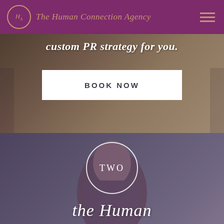The Human Connection Agency
custom PR strategy for you.
BOOK NOW
TWO
the Human